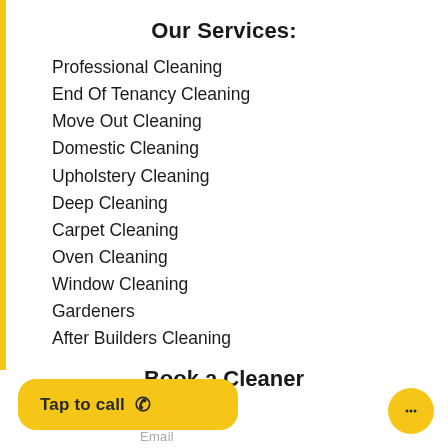Our Services:
Professional Cleaning
End Of Tenancy Cleaning
Move Out Cleaning
Domestic Cleaning
Upholstery Cleaning
Deep Cleaning
Carpet Cleaning
Oven Cleaning
Window Cleaning
Gardeners
After Builders Cleaning
Book a Cleaner
Tap to call
Email